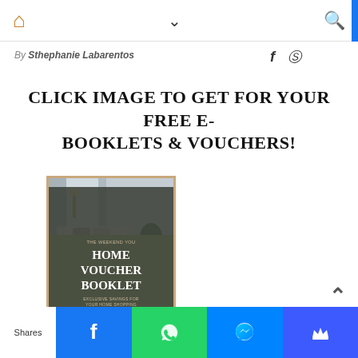Home icon | chevron down | search icon
By Sthephanie Labarentos
CLICK IMAGE TO GET FOR YOUR FREE E-BOOKLETS & VOUCHERS!
[Figure (photo): Home Voucher Booklet cover with living room photo and text: THE WEEKEND YOU HOME VOUCHER BOOKLET EXCLUSIVE SAVINGS FOR YOUR HOME SHOPPING]
Shares | Facebook | WhatsApp | Messenger | Crown icon